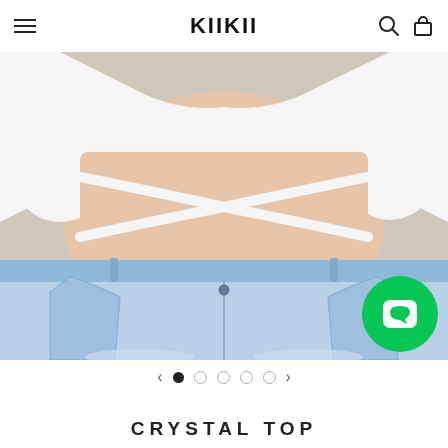KIIKII
[Figure (photo): A woman wearing a white cropped top with cross-wrap tie detail at the midriff, paired with light wash distressed denim jeans. The torso view shows the wrap-around strap crossing at the waist. A green circle (LINE contact button) is visible in the lower right of the image.]
< ● ○ ○ ○ ○ >
CRYSTAL TOP